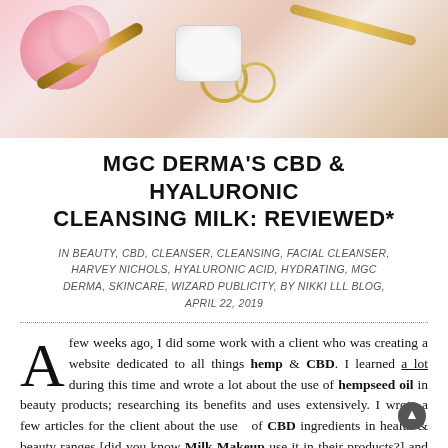[Figure (photo): Beauty flatlay photo showing makeup brushes, gold rings, a white jar/cream container, and pink flowers on a light background]
MGC DERMA'S CBD & HYALURONIC CLEANSING MILK: REVIEWED*
IN BEAUTY, CBD, CLEANSER, CLEANSING, FACIAL CLEANSER, HARVEY NICHOLS, HYALURONIC ACID, HYDRATING, MGC DERMA, SKINCARE, WIZARD PUBLICITY, BY NIKKI LLL BLOG, APRIL 22, 2019
A few weeks ago, I did some work with a client who was creating a website dedicated to all things hemp & CBD. I learned a lot during this time and wrote a lot about the use of hempseed oil in beauty products; researching its benefits and uses extensively. I wrote a few articles for the client about the use of CBD ingredients in health & beauty ranges [did you know Milk Makeup use it in their products?] and — as I seem to